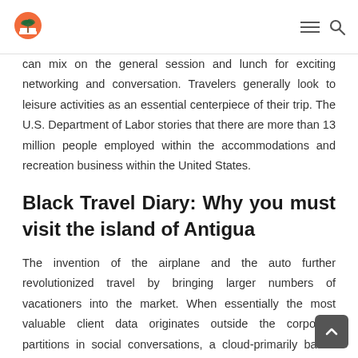Travel blog header with logo, hamburger menu, and search icon
can mix on the general session and lunch for exciting networking and conversation. Travelers generally look to leisure activities as an essential centerpiece of their trip. The U.S. Department of Labor stories that there are more than 13 million people employed within the accommodations and recreation business within the United States.
Black Travel Diary: Why you must visit the island of Antigua
The invention of the airplane and the auto further revolutionized travel by bringing larger numbers of vacationers into the market. When essentially the most valuable client data originates outside the corporate partitions in social conversations, a cloud-primarily based CRM system lets you manage your business higher, quicker, and extra cost effectively. Simply put, a CRM that provides a richer way to connect abilities in